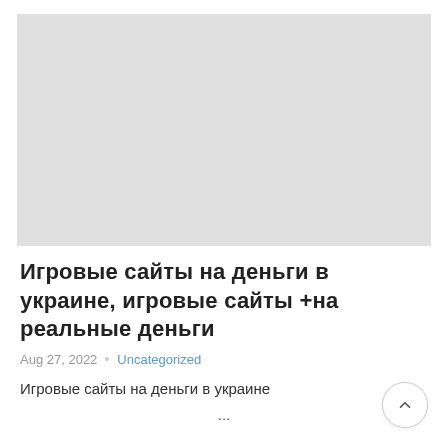[Figure (photo): Large light gray rectangular placeholder image at the top of the page]
Игровые сайты на деньги в украине, игровые сайты +на реальные деньги
Aug 27, 2022  Uncategorized
Игровые сайты на деньги в украине
...